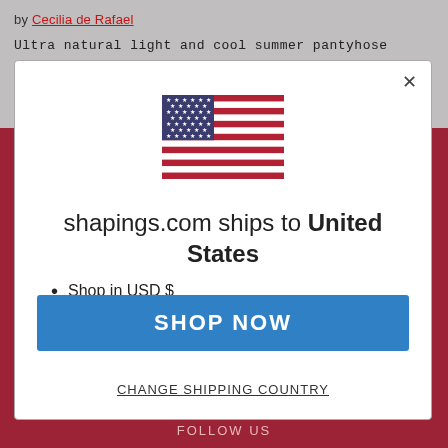by Cecilia de Rafael
Ultra natural light and cool summer pantyhose
[Figure (screenshot): Modal dialog box showing US flag, shipping information for shapings.com to United States, shop now button, and change shipping country link]
FOLLOW US